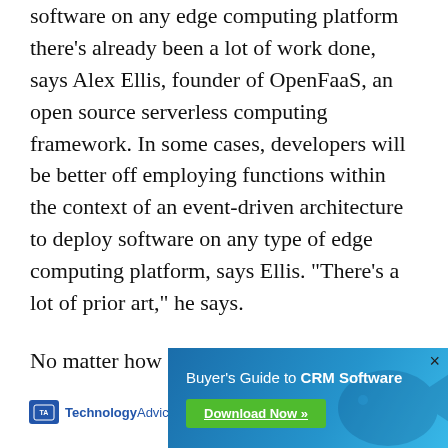software on any edge computing platform there's already been a lot of work done, says Alex Ellis, founder of OpenFaaS, an open source serverless computing framework. In some cases, developers will be better off employing functions within the context of an event-driven architecture to deploy software on any type of edge computing platform, says Ellis. “There’s a lot of prior art,” he says.
No matter how software comes to IoT platforms specifically and edge computing platforms in general, it’s clear much work needs to be done before cloud-native technologies, such as containers and Kubernetes, become... challenges... ying
[Figure (other): Advertisement overlay: TechnologyAdvice logo on white background on the left, and a banner ad for 'Buyer's Guide to CRM Software' with a green 'Download Now' button on a blue gradient background on the right. A close (x) button appears at the top right of the banner.]